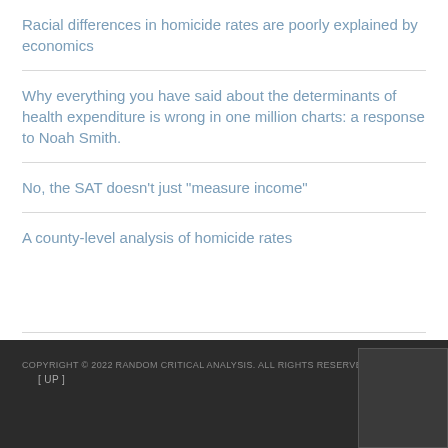Racial differences in homicide rates are poorly explained by economics
Why everything you have said about the determinants of health expenditure is wrong in one million charts: a response to Noah Smith.
No, the SAT doesn't just "measure income"
A county-level analysis of homicide rates
COPYRIGHT © 2022 RANDOM CRITICAL ANALYSIS. ALL RIGHTS RESERVED.
[ UP ]